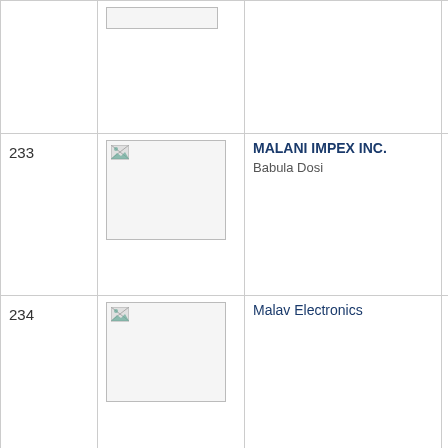| No. | Image | Company | Contact |
| --- | --- | --- | --- |
|  |  |  |  |
| 233 | [image] | MALANI IMPEX INC.
Babula Dosi | Mobile : 9829...
Factory :
Office :
Email : babu... |
| 234 | [image] | Malav Electronics | Mobile : 9414...
Factory :
Office :
Email : |
| 235 | [image] | MANAS INDUSTRIES | Mobile : 982... |